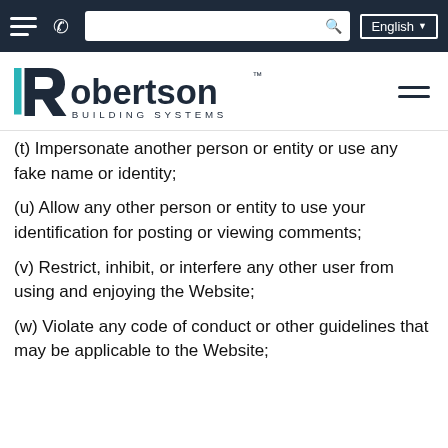Robertson Building Systems website navigation bar with hamburger menu, phone icon, search bar, and English language selector
[Figure (logo): Robertson Building Systems logo with teal and black R icon and wordmark]
(t) Impersonate another person or entity or use any fake name or identity;
(u) Allow any other person or entity to use your identification for posting or viewing comments;
(v) Restrict, inhibit, or interfere any other user from using and enjoying the Website;
(w) Violate any code of conduct or other guidelines that may be applicable to the Website;